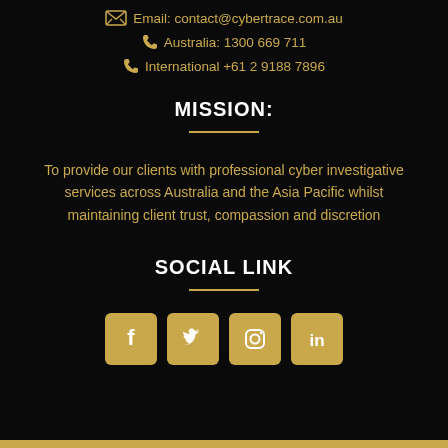Email: contact@cybertrace.com.au
Australia: 1300 669 711
International +61 2 9188 7896
MISSION:
To provide our clients with professional cyber investigative services across Australia and the Asia Pacific whilst maintaining client trust, compassion and discretion
SOCIAL LINK
[Figure (other): Four social media icons: Facebook, Twitter, Instagram, LinkedIn in gold square boxes]